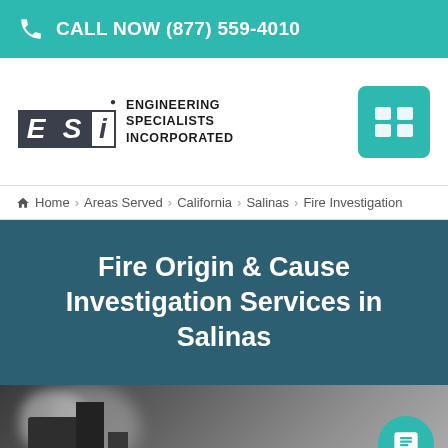CALL NOW (877) 559-4010
[Figure (logo): ESI Engineering Specialists Incorporated logo with teal menu button]
Home > Areas Served > California > Salinas > Fire Investigation
Fire Origin & Cause Investigation Services in Salinas
[Figure (photo): Industrial building with smoke billowing, fire scene photo]